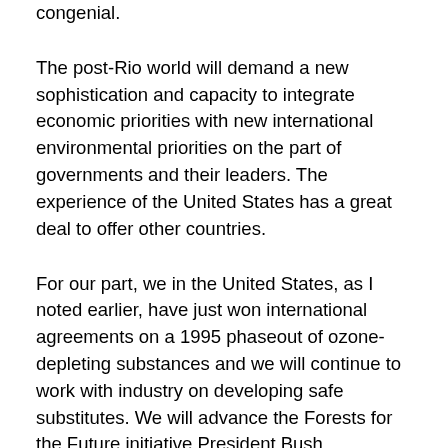congenial.
The post-Rio world will demand a new sophistication and capacity to integrate economic priorities with new international environmental priorities on the part of governments and their leaders. The experience of the United States has a great deal to offer other countries.
For our part, we in the United States, as I noted earlier, have just won international agreements on a 1995 phaseout of ozone-depleting substances and we will continue to work with industry on developing safe substitutes. We will advance the Forests for the Future initiative President Bush announced at Rio; we will encourage the transfer of U.S.-developed "green" technologies to developing countries, so they can pursue their development in a way that is sustainable over the long term; we will continue to lead the world in promoting community right-to-know internationally, both to help the